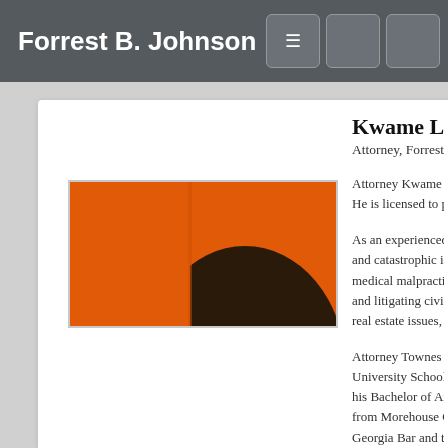Forrest B. Johnson
[Figure (photo): Headshot photograph of Kwame Lateef Townes against an orange background, showing the top and side of his head]
Kwame Lateef
Attorney, Forrest B. Jo
Attorney Kwame Late... He is licensed to pra...
As an experienced p... and catastrophic inj... medical malpractice.... and litigating civil an... real estate issues, an...
Attorney Townes e... University School of ... his Bachelor of Arts... from Morehouse Co... Georgia Bar and the...